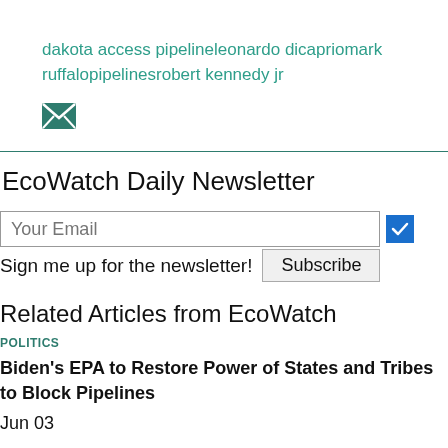dakota access pipelineleonardo dicapriomark ruffalopipelinesrobert kennedy jr
[Figure (illustration): Teal envelope icon representing email/newsletter]
EcoWatch Daily Newsletter
Your Email [input field] [blue checkbox]
Sign me up for the newsletter! Subscribe
Related Articles from EcoWatch
POLITICS
Biden's EPA to Restore Power of States and Tribes to Block Pipelines
Jun 03